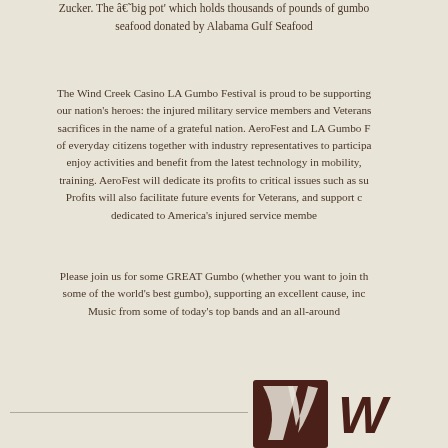Zucker. The â€˜big pot' which holds thousands of pounds of gumbo seafood donated by Alabama Gulf Seafood
The Wind Creek Casino LA Gumbo Festival is proud to be supporting our nation's heroes: the injured military service members and Veterans sacrifices in the name of a grateful nation. AeroFest and LA Gumbo F of everyday citizens together with industry representatives to participa enjoy activities and benefit from the latest technology in mobility, training. AeroFest will dedicate its profits to critical issues such as sui Profits will also facilitate future events for Veterans, and support c dedicated to America's injured service membe
Please join us for some GREAT Gumbo (whether you want to join th some of the world's best gumbo), supporting an excellent cause, inc Music from some of today's top bands and an all-around
OUR PRO
[Figure (logo): Partial Wind Creek Casino logo — brown stylized W emblem with partial text W]